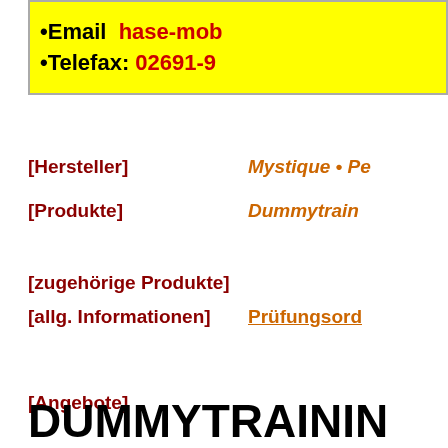•Email  hase-mob...
•Telefax: 02691-9...
[Hersteller]   Mystique • Pe...
[Produkte]   Dummytraini...
[zugehörige Produkte]
[allg. Informationen]   Prüfungsord...
[Angebote]
DUMMYTRAININ...